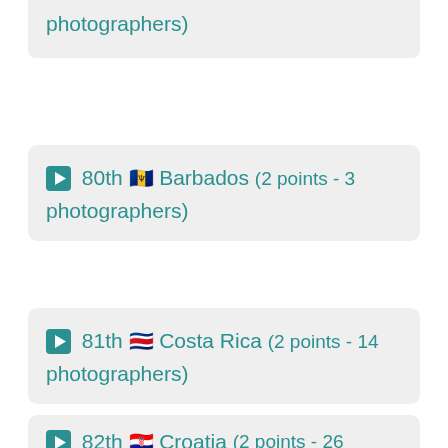photographers)
▶ 80th 🇧🇧 Barbados (2 points - 3 photographers)
▶ 81th 🇨🇷 Costa Rica (2 points - 14 photographers)
▶ 82th 🇭🇷 Croatia (2 points - 26 photographers)